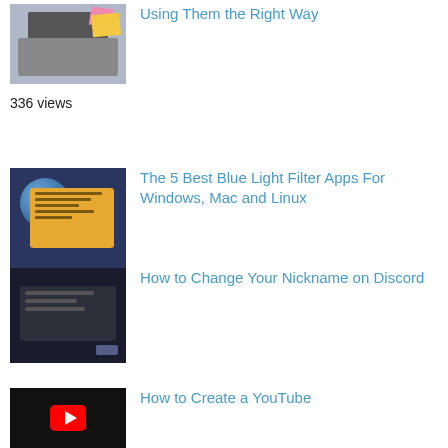[Figure (photo): Laptop with sticky notes thumbnail]
Using Them the Right Way
336 views
[Figure (photo): Blue light filter app dialog on dark background thumbnail]
The 5 Best Blue Light Filter Apps For Windows, Mac and Linux
317 views
[Figure (photo): Discord Change Nickname dialog thumbnail]
How to Change Your Nickname on Discord
313 views
[Figure (photo): YouTube logo with play button thumbnail]
How to Create a YouTube